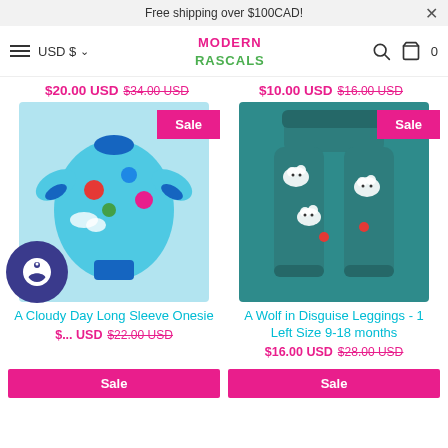Free shipping over $100CAD!
USD $ ▾
[Figure (logo): Modern Rascals logo in pink and green text]
$20.00 USD $34.00 USD
$10.00 USD $16.00 USD
[Figure (photo): A cloudy day long sleeve onesie - light blue baby bodysuit with balloon and cloud print, with Sale badge]
[Figure (photo): A Wolf in Disguise Leggings - teal leggings with wolf/dalmatian print, with Sale badge]
A Cloudy Day Long Sleeve Onesie
$... USD $22.00 USD
A Wolf in Disguise Leggings - 1 Left Size 9-18 months
$16.00 USD $28.00 USD